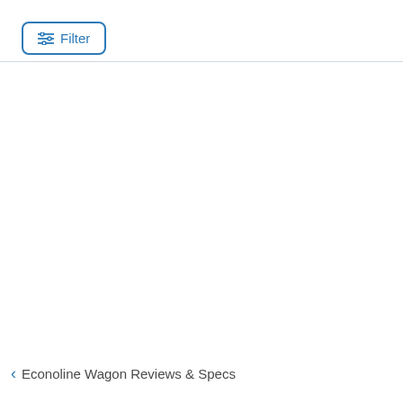[Figure (screenshot): Filter button with sliders icon, blue outline rounded rectangle]
< Econoline Wagon Reviews & Specs